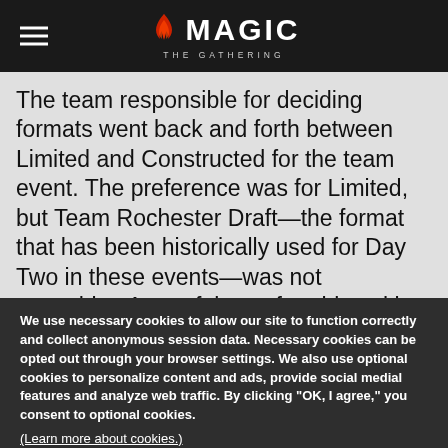Magic: The Gathering
The team responsible for deciding formats went back and forth between Limited and Constructed for the team event. The preference was for Limited, but Team Rochester Draft—the format that has been historically used for Day Two in these events—was not something Aaron felt comfortable asking players new to the team experience to dive into.
We use necessary cookies to allow our site to function correctly and collect anonymous session data. Necessary cookies can be opted out through your browser settings. We also use optional cookies to personalize content and ads, provide social medial features and analyze web traffic. By clicking "OK, I agree," you consent to optional cookies. (Learn more about cookies.)
OK, I agree   No, thanks